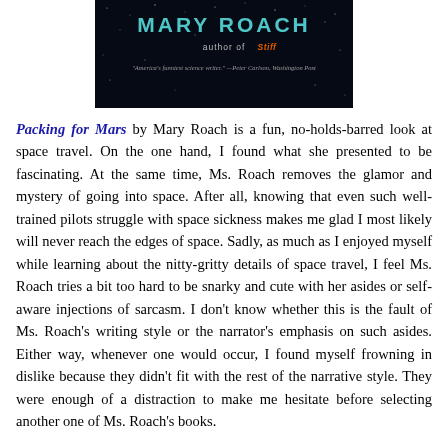[Figure (photo): Book cover fragment showing 'MARY ROACH' in teal letters on a dark starfield background, with 'author of Stiff' and a quote from Peter Carlson, Washington Post]
Packing for Mars by Mary Roach is a fun, no-holds-barred look at space travel. On the one hand, I found what she presented to be fascinating. At the same time, Ms. Roach removes the glamor and mystery of going into space. After all, knowing that even such well-trained pilots struggle with space sickness makes me glad I most likely will never reach the edges of space. Sadly, as much as I enjoyed myself while learning about the nitty-gritty details of space travel, I feel Ms. Roach tries a bit too hard to be snarky and cute with her asides or self-aware injections of sarcasm. I don't know whether this is the fault of Ms. Roach's writing style or the narrator's emphasis on such asides. Either way, whenever one would occur, I found myself frowning in dislike because they didn't fit with the rest of the narrative style. They were enough of a distraction to make me hesitate before selecting another one of Ms. Roach's books.
[Figure (photo): Bottom portion of another book cover on dark background]